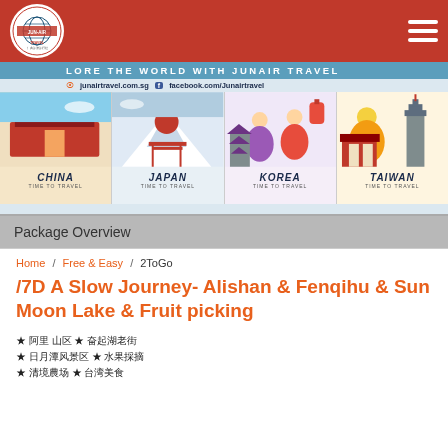JUN-AIR TRAVEL
[Figure (illustration): Travel agency banner with destinations: China, Japan, Korea, Taiwan illustrated with landmarks and travel imagery. Text: EXPLORE THE WORLD WITH JUNAIR TRAVEL, junairtravel.com.sg, facebook.com/Junairtravel]
Package Overview
Home / Free & Easy / 2ToGo
/7D A Slow Journey- Alishan & Fenqihu & Sun Moon Lake & Fruit picking
★ 阿里 山区 ★ 奋起湖老街
★ 日月潭风景区 ★ 水果採摘
★ 清境農场 ★ 台湾美食